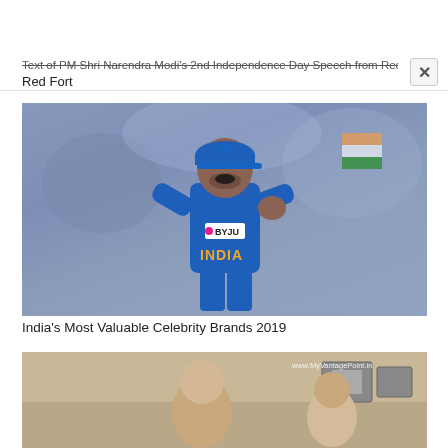Text of PM Shri Narendra Modi's 2nd Independence Day Speech from Red Fort
[Figure (photo): Cricket player (Virat Kohli) in India blue jersey with BYJU'S sponsorship, celebrating with fist pump, crowd in background]
India's Most Valuable Celebrity Brands 2019
[Figure (photo): Second image partially visible, showing people indoors with text watermark www.MyVantagePoint.in]